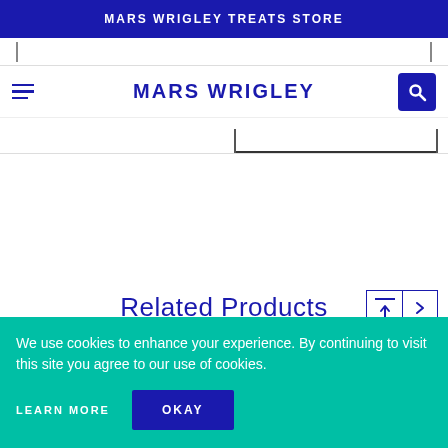MARS WRIGLEY TREATS STORE
MARS WRIGLEY
Related Products
We use cookies to enhance your experience. By continuing to visit this site you agree to our use of cookies.
LEARN MORE
OKAY